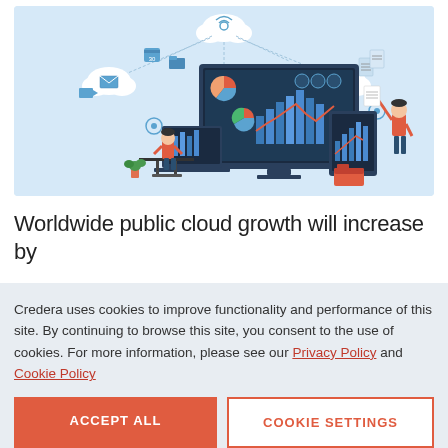[Figure (illustration): Flat-style illustration of cloud computing analytics: a person sitting at a desk with a monitor showing charts, a large desktop monitor with bar charts and a pie chart on screen, a tablet with bar charts, floating cloud icons with various app icons (email, video, files, calendar), document papers, and a person holding up a document. Light blue background.]
Worldwide public cloud growth will increase by
Credera uses cookies to improve functionality and performance of this site. By continuing to browse this site, you consent to the use of cookies. For more information, please see our Privacy Policy and Cookie Policy
ACCEPT ALL
COOKIE SETTINGS